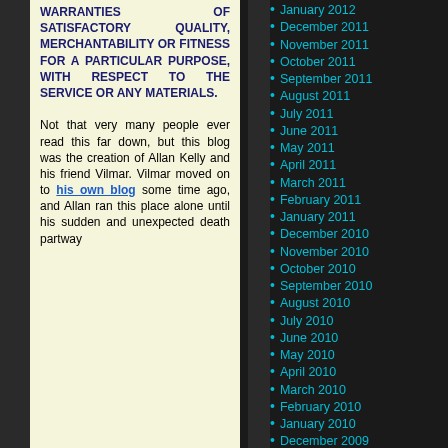WARRANTIES OF SATISFACTORY QUALITY, MERCHANTABILITY OR FITNESS FOR A PARTICULAR PURPOSE, WITH RESPECT TO THE SERVICE OR ANY MATERIALS.
Not that very many people ever read this far down, but this blog was the creation of Allan Kelly and his friend Vilmar. Vilmar moved on to his own blog some time ago, and Allan ran this place alone until his sudden and unexpected death partway
January 2012
December 2011
November 2011
October 2011
September 2011
August 2011
July 2011
June 2011
May 2011
April 2011
March 2011
February 2011
January 2011
December 2010
November 2010
October 2010
September 2010
August 2010
July 2010
June 2010
May 2010
April 2010
March 2010
February 2010
January 2010
December 2009
November 2009
October 2009
September 2009
August 2009
July 2009
June 2009
May 2009
April 2009
March 2009
February 2009
January 2009
December 2008
November 2008
October 2008
September 2008